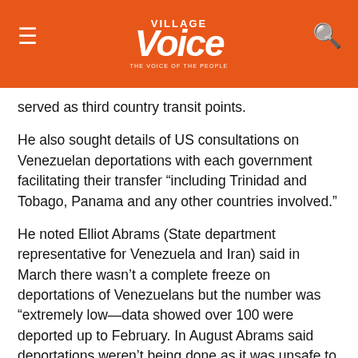Village Voice
served as third country transit points.
He also sought details of US consultations on Venezuelan deportations with each government facilitating their transfer “including Trinidad and Tobago, Panama and any other countries involved.”
He noted Elliot Abrams (State department representative for Venezuela and Iran) said in March there wasn’t a complete freeze on deportations of Venezuelans but the number was “extremely low—data showed over 100 were deported up to February. In August Abrams said deportations weren’t being done as it was unsafe to deport Venezuelans home.
However, Young said of Menendez’s claim, “It’s a strange